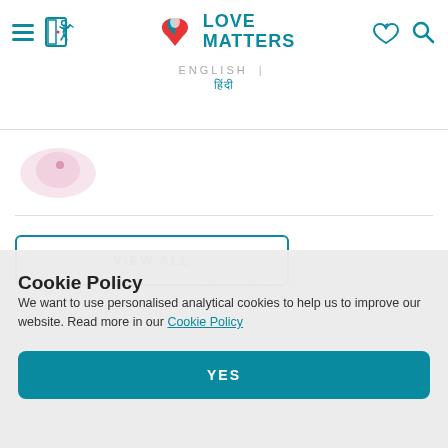LOVE MATTERS — English | हिंदी
[Figure (screenshot): Partial thumbnail image of a circular pink/red illustration]
VIEW ALL
Cookie Policy
We want to use personalised analytical cookies to help us to improve our website. Read more in our Cookie Policy
YES